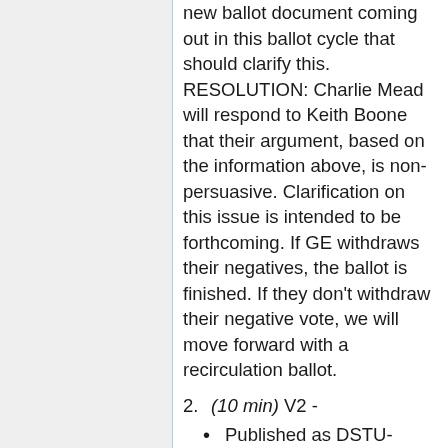new ballot document coming out in this ballot cycle that should clarify this. RESOLUTION: Charlie Mead will respond to Keith Boone that their argument, based on the information above, is non-persuasive. Clarification on this issue is intended to be forthcoming. If GE withdraws their negatives, the ballot is finished. If they don't withdraw their negative vote, we will move forward with a recirculation ballot.
2. (10 min) V2 -
• Published as DSTU- There was agreement